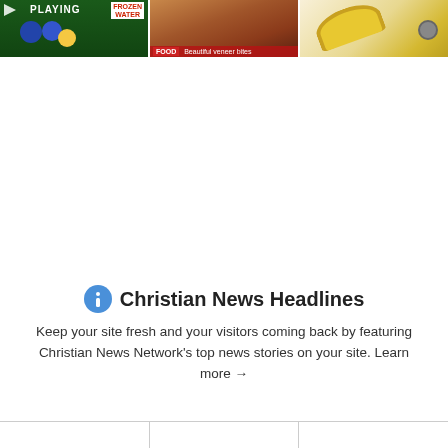[Figure (screenshot): Row of three thumbnail images at the top: left shows animated blueberries with 'PLAYING' text and 'FROZEN WATER' label on green background; center shows a food/cooking image with dark overlay and red label bar at bottom reading 'Beautiful veneer bites'; right shows a yellow/banana image on light background.]
[Figure (logo): Blue circular information icon (letter i in white on blue circle)]
Christian News Headlines
Keep your site fresh and your visitors coming back by featuring Christian News Network's top news stories on your site. Learn more →
|  |  |  |